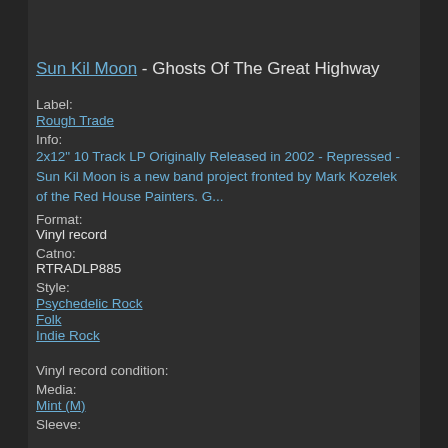Sun Kil Moon - Ghosts Of The Great Highway
Label:
Rough Trade
Info:
2x12" 10 Track LP Originally Released in 2002 - Repressed - Sun Kil Moon is a new band project fronted by Mark Kozelek of the Red House Painters. G...
Format:
Vinyl record
Catno:
RTRADLP885
Style:
Psychedelic Rock
Folk
Indie Rock
Vinyl record condition:
Media:
Mint (M)
Sleeve: